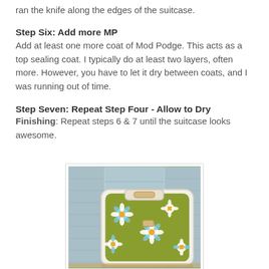ran the knife along the edges of the suitcase.
Step Six:  Add more MP
Add at least one more coat of Mod Podge.  This acts as a top sealing coat.  I typically do at least two layers, often more.  However, you have to let it dry between coats, and I was running out of time.
Step Seven:  Repeat Step Four - Allow to Dry
Finishing:  Repeat steps 6 & 7 until the suitcase looks awesome.
[Figure (photo): A vintage suitcase decorated with a daisy/floral fabric pattern in olive green, white, blue and orange colors, photographed leaning against light blue wooden shutters.]